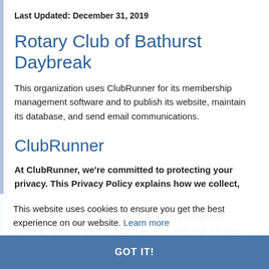Last Updated: December 31, 2019
Rotary Club of Bathurst Daybreak
This organization uses ClubRunner for its membership management software and to publish its website, maintain its database, and send email communications.
ClubRunner
At ClubRunner, we're committed to protecting your privacy. This Privacy Policy explains how we collect, use, and disclose information processed through this website, and our online subscription service (the Services ).
This page sets out our privacy policy and describes why and how we collect, use and disclose personal information which you choose to provide to us on our
This website uses cookies to ensure you get the best experience on our website. Learn more
GOT IT!